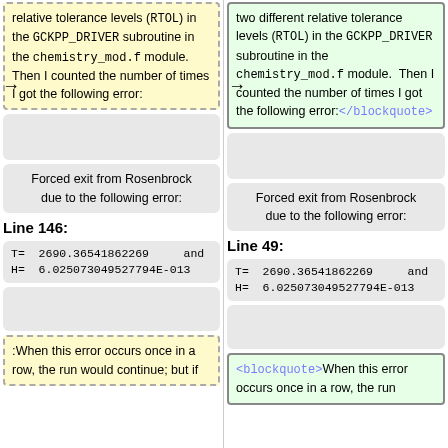relative tolerance levels (<tt>RTOL</tt>) in the <tt>GCKPP_DRIVER</tt> subroutine in the <tt>chemistry_mod.f</tt> module.  Then I counted the number of times I got the following error:
two different relative tolerance levels (<tt>RTOL</tt>) in the <tt>GCKPP_DRIVER</tt> subroutine in the <tt>chemistry_mod.f</tt> module.  Then I counted the number of times I got the following error: </blockquote>
Forced exit from Rosenbrock due to the following error:
Forced exit from Rosenbrock due to the following error:
Line 146:
Line 49:
T=  2690.36541862269     and H=  6.025073049527794E-013
T=  2690.36541862269     and H=  6.025073049527794E-013
When this error occurs once in a row, the run would continue; but if
<blockquote> When this error occurs once in a row, the run